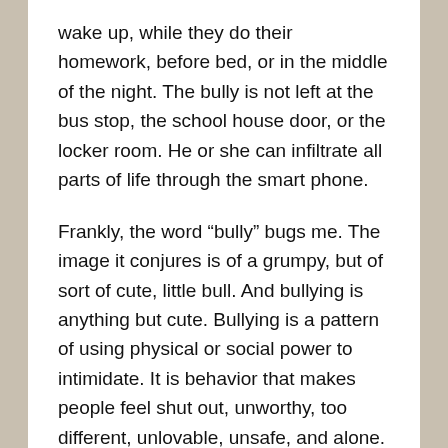wake up, while they do their homework, before bed, or in the middle of the night. The bully is not left at the bus stop, the school house door, or the locker room. He or she can infiltrate all parts of life through the smart phone.
Frankly, the word “bully” bugs me. The image it conjures is of a grumpy, but of sort of cute, little bull. And bullying is anything but cute. Bullying is a pattern of using physical or social power to intimidate. It is behavior that makes people feel shut out, unworthy, too different, unlovable, unsafe, and alone. No different really than harassment, assault, or other behavior that we label cruel and criminal. Indeed, it is cruelty that we excuse a bit because it is done most often by people we consider immature. And although